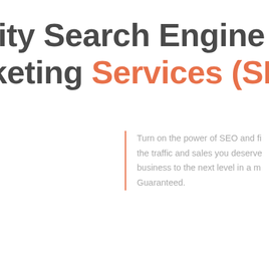lity Search Engine Marketing Services (SEO)
Turn on the power of SEO and fi... the traffic and sales you deserve... business to the next level in a m... Guaranteed.